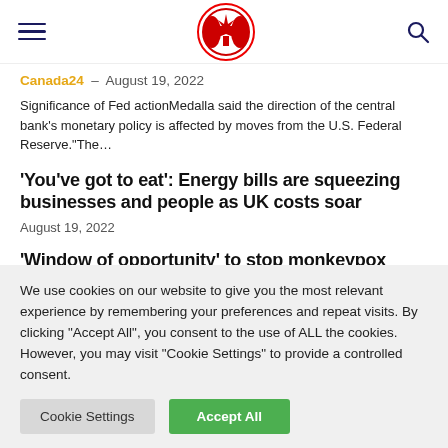Canada24 news website header with hamburger menu, logo, and search icon
Canada24 – August 19, 2022
Significance of Fed actionMedalla said the direction of the central bank's monetary policy is affected by moves from the U.S. Federal Reserve."The...
'You've got to eat': Energy bills are squeezing businesses and people as UK costs soar
August 19, 2022
'Window of opportunity' to stop monkeypox spread could be closing as more patients stall
We use cookies on our website to give you the most relevant experience by remembering your preferences and repeat visits. By clicking "Accept All", you consent to the use of ALL the cookies. However, you may visit "Cookie Settings" to provide a controlled consent.